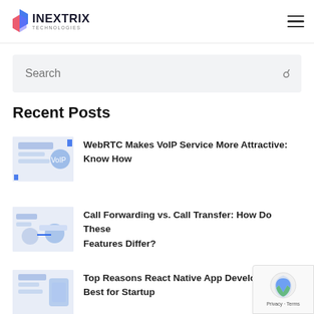INEXTRIX
Search
Recent Posts
[Figure (illustration): Thumbnail for WebRTC Makes VoIP Service More Attractive post]
WebRTC Makes VoIP Service More Attractive: Know How
[Figure (illustration): Thumbnail for Call Forwarding vs. Call Transfer post]
Call Forwarding vs. Call Transfer: How Do These Features Differ?
[Figure (illustration): Thumbnail for Top Reasons React Native App Development post]
Top Reasons React Native App Development Best for Startup